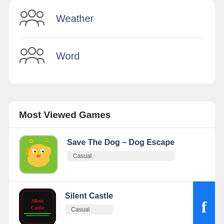Weather
Word
Most Viewed Games
Save The Dog – Dog Escape
Casual
Silent Castle
Casual
Closet Organizer 2022